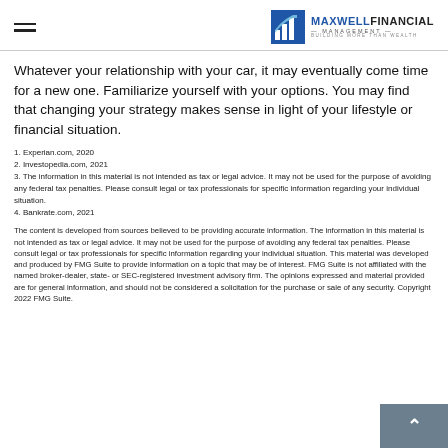Maxwell Financial Management — Building More Than Wealth
Whatever your relationship with your car, it may eventually come time for a new one. Familiarize yourself with your options. You may find that changing your strategy makes sense in light of your lifestyle or financial situation.
1. Experian.com, 2020
2. Investopedia.com, 2021
3. The information in this material is not intended as tax or legal advice. It may not be used for the purpose of avoiding any federal tax penalties. Please consult legal or tax professionals for specific information regarding your individual situation.
4. Bankrate.com, 2021
The content is developed from sources believed to be providing accurate information. The information in this material is not intended as tax or legal advice. It may not be used for the purpose of avoiding any federal tax penalties. Please consult legal or tax professionals for specific information regarding your individual situation. This material was developed and produced by FMG Suite to provide information on a topic that may be of interest. FMG Suite is not affiliated with the named broker-dealer, state- or SEC-registered investment advisory firm. The opinions expressed and material provided are for general information, and should not be considered a solicitation for the purchase or sale of any security. Copyright 2022 FMG Suite.